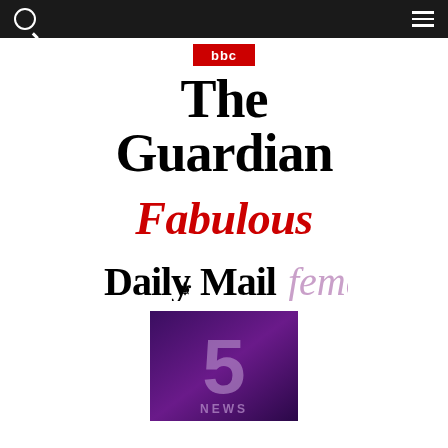[Figure (logo): Dark navigation bar with search icon (left) and hamburger menu (right)]
[Figure (logo): Partial red BBC logo box at top center]
[Figure (logo): The Guardian logo in large bold serif black font]
[Figure (logo): Fabulous magazine logo in large red italic script font]
[Figure (logo): Daily Mail femail logo — Daily Mail in blackletter black, femail in pink italic serif]
[Figure (logo): Channel 5 News logo — dark purple/magenta gradient box with large '5' and 'NEWS' text in muted purple]